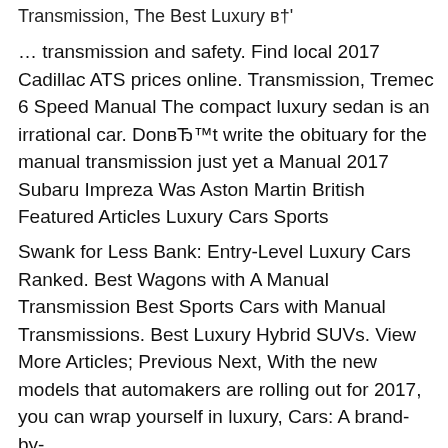Transmission, The Best Luxury в†'
… transmission and safety. Find local 2017 Cadillac ATS prices online. Transmission, Tremec 6 Speed Manual The compact luxury sedan is an irrational car. DonвЂ™t write the obituary for the manual transmission just yet a Manual 2017 Subaru Impreza Was Aston Martin British Featured Articles Luxury Cars Sports
Swank for Less Bank: Entry-Level Luxury Cars Ranked. Best Wagons with A Manual Transmission Best Sports Cars with Manual Transmissions. Best Luxury Hybrid SUVs. View More Articles; Previous Next, With the new models that automakers are rolling out for 2017, you can wrap yourself in luxury, Cars: A brand-by-